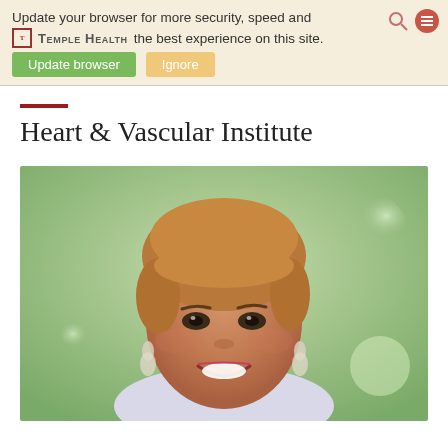Update your browser for more security, speed and the best experience on this site.
Heart & Vascular Institute
[Figure (photo): Professional headshot of a smiling woman with short auburn/blonde hair, wearing drop earrings, photographed outdoors with a blurred green background.]